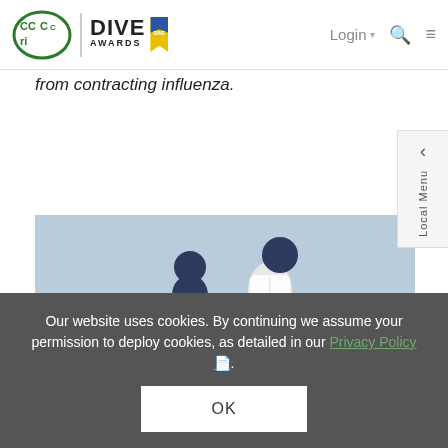CCRI | DIVE AWARDS | Login | Search | Menu
from contracting influenza.
Register Now!
[Figure (illustration): Illustration showing two stylized figures: a white-coated figure (healthcare worker) administering a vaccine/injection to a seated dark-colored figure, with an orange table/desk between them, on a light blue background.]
Our website uses cookies. By continuing we assume your permission to deploy cookies, as detailed in our Privacy Policy.
OK